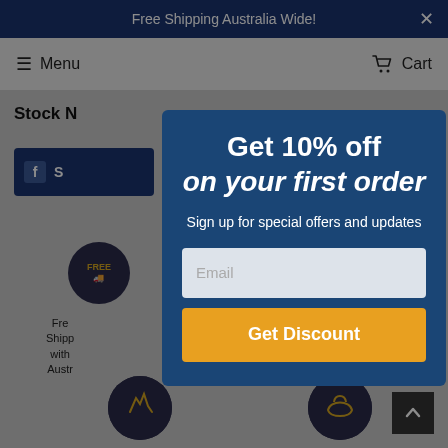Free Shipping Australia Wide!
Menu
Cart
Stock N
[Figure (screenshot): Facebook share button partially visible behind modal overlay]
[Figure (illustration): Free shipping circular icon badge, partially visible on left side]
Fre Shipp with Austr
[Figure (illustration): 100% Pure Wool circular icon badge, partially visible on right side]
100% Pure Wool
[Figure (illustration): Two circular icon badges at bottom — craft/fist and flower/wool icons]
Get 10% off
on your first order
Sign up for special offers and updates
Email
Get Discount